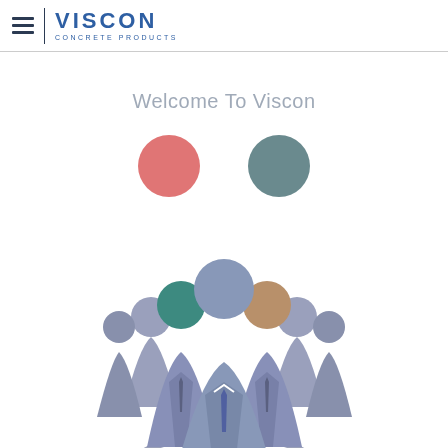VISCON CONCRETE PRODUCTS
Welcome To Viscon
[Figure (illustration): Two colored circles (pink and teal-gray) above an illustration of a group of business people figures in muted blue-gray tones with colorful heads (teal and tan for the two front figures), standing in a circle with arrows around them indicating rotation or teamwork.]